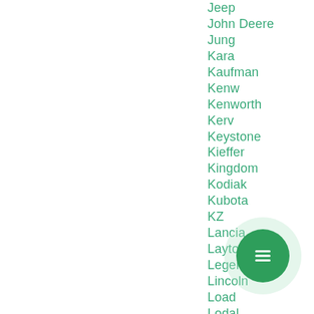Jeep
John Deere
Jung
Kara
Kaufman
Kenw
Kenworth
Kerv
Keystone
Kieffer
Kingdom
Kodiak
Kubota
KZ
Lancia
Layton
Legend
Lincoln
Load
Lodal
Look
MAC
Mack
Maje
Maxey
[Figure (illustration): A circular FAB (floating action button) with a dark green inner circle containing a white list/menu icon, surrounded by a lighter green translucent outer ring.]